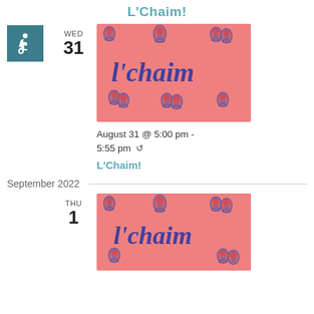L'Chaim!
[Figure (illustration): Salmon/coral colored background with blue wine glass illustrations and 'l'chaim' text in blue handwritten style font, repeated pattern]
August 31 @ 5:00 pm - 5:55 pm ↺
L'Chaim!
September 2022
[Figure (illustration): Salmon/coral colored background with blue wine glass illustrations and 'l'chaim' text in blue handwritten style font, repeated pattern]